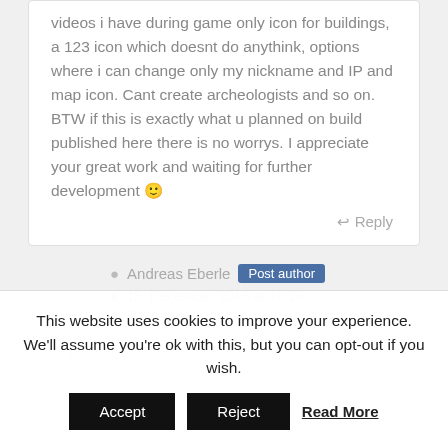videos i have during game only icon for buildings, a 123 icon which doesnt do anythink, options where i can change only my nickname and IP and map icon. Cant create archeologists and so on. BTW if this is exactly what u planned on build published here there is no worrys. I appreciate your great work and waiting for further development 🙂
Reply
Andreas Eberle Post author
18. December 2016 at 10:29
Permalink
This website uses cookies to improve your experience. We'll assume you're ok with this, but you can opt-out if you wish.